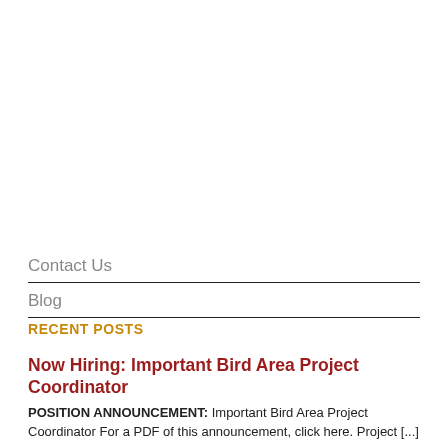Contact Us
Blog
RECENT POSTS
Now Hiring: Important Bird Area Project Coordinator
POSITION ANNOUNCEMENT:  Important Bird Area Project Coordinator For a PDF of this announcement, click here. Project [...]